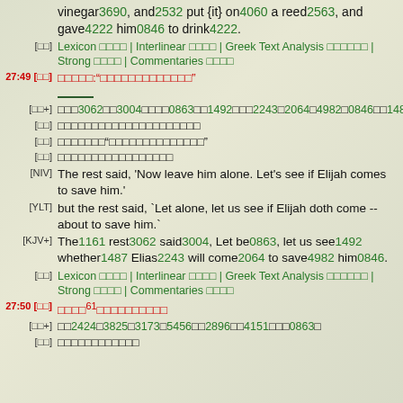vinegar3690, and2532 put {it} on4060 a reed2563, and gave4222 him0846 to drink4222.
[□□] Lexicon □□□□ | Interlinear □□□□ | Greek Text Analysis □□□□□□ | Strong □□□□ | Commentaries □□□□
27:49 [□□] □□□□□:"□□□□□□□□□□□□□□"
[□□+] □□□3062□□3004□□□□0863□□1492□□□2243□2064□4982□0846□□1487□
[□□] □□□□□□□□□□□□□□□□□□□□□
[□□] □□□□□□□□"□□□□□□□□□□□□□□"
[□□] □□□□□□□□□□□□□□□□□
[NIV] The rest said, 'Now leave him alone. Let's see if Elijah comes to save him.'
[YLT] but the rest said, `Let alone, let us see if Elijah doth come -- about to save him.`
[KJV+] The1161 rest3062 said3004, Let be0863, let us see1492 whether1487 Elias2243 will come2064 to save4982 him0846.
[□□] Lexicon □□□□ | Interlinear □□□□ | Greek Text Analysis □□□□□□ | Strong □□□□ | Commentaries □□□□
27:50 [□□] □□□□61□□□□□□□□□□
[□□+] □□2424□3825□3173□5456□□2896□□4151□□□0863□
[□□] □□□□□□□□□□□□